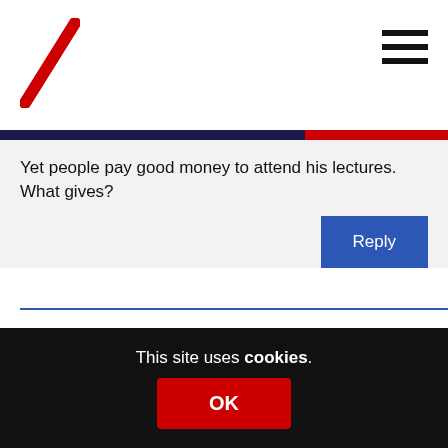Site logo and navigation menu
Yet people pay good money to attend his lectures. What gives?
Reply
lorrainecleaver7
17th September 2014 at 7:17 am
Reblogged this on Lorraine Cleaver and commented:
He points to David Dimbleby: “You’ve just come
This site uses cookies.
OK